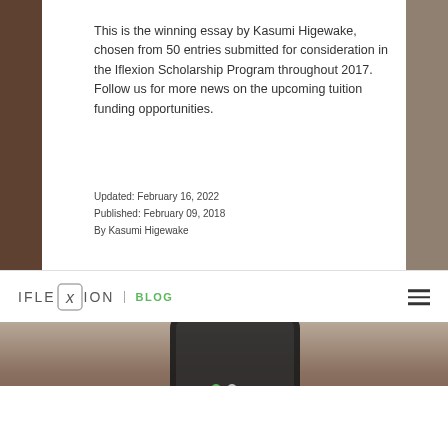This is the winning essay by Kasumi Higewake, chosen from 50 entries submitted for consideration in the Iflexion Scholarship Program throughout 2017. Follow us for more news on the upcoming tuition funding opportunities.
Updated: February 16, 2022
Published: February 09, 2018
By Kasumi Higewake
[Figure (logo): Iflexion Blog logo with navigation hamburger menu]
[Figure (photo): Hand holding a smartphone, bottom portion of image with carousel navigation dots]